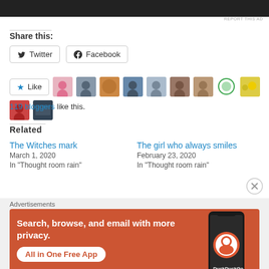[Figure (screenshot): Dark/black top section, partial ad image cropped at top]
REPORT THIS AD
Share this:
[Figure (screenshot): Twitter share button with bird icon]
[Figure (screenshot): Facebook share button with F icon]
[Figure (screenshot): Like button with star icon and row of blogger avatars]
119 bloggers like this.
Related
The Witches mark
March 1, 2020
In "Thought room rain"
The girl who always smiles
February 23, 2020
In "Thought room rain"
Advertisements
[Figure (screenshot): DuckDuckGo advertisement banner: Search, browse, and email with more privacy. All in One Free App. Shows phone with DuckDuckGo logo.]
REPORT THIS AD